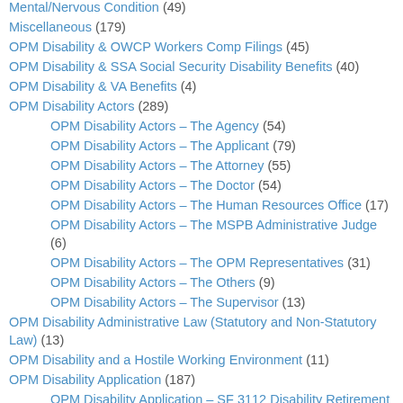Mental/Nervous Condition (49)
Miscellaneous (179)
OPM Disability & OWCP Workers Comp Filings (45)
OPM Disability & SSA Social Security Disability Benefits (40)
OPM Disability & VA Benefits (4)
OPM Disability Actors (289)
OPM Disability Actors – The Agency (54)
OPM Disability Actors – The Applicant (79)
OPM Disability Actors – The Attorney (55)
OPM Disability Actors – The Doctor (54)
OPM Disability Actors – The Human Resources Office (17)
OPM Disability Actors – The MSPB Administrative Judge (6)
OPM Disability Actors – The OPM Representatives (31)
OPM Disability Actors – The Others (9)
OPM Disability Actors – The Supervisor (13)
OPM Disability Administrative Law (Statutory and Non-Statutory Law) (13)
OPM Disability and a Hostile Working Environment (11)
OPM Disability Application (187)
OPM Disability Application – SF 3112 Disability Retirement